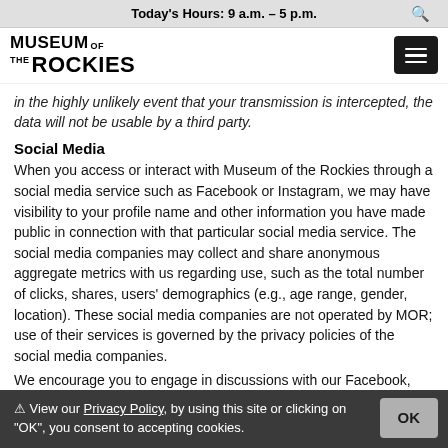Today's Hours: 9 a.m. – 5 p.m.  🔍
[Figure (logo): Museum of the Rockies logo with hamburger menu button]
in the highly unlikely event that your transmission is intercepted, the data will not be usable by a third party.
Social Media
When you access or interact with Museum of the Rockies through a social media service such as Facebook or Instagram, we may have visibility to your profile name and other information you have made public in connection with that particular social media service. The social media companies may collect and share anonymous aggregate metrics with us regarding use, such as the total number of clicks, shares, users' demographics (e.g., age range, gender, location). These social media companies are not operated by MOR; use of their services is governed by the privacy policies of the social media companies.
We encourage you to engage in discussions with our Facebook, Instagram, LinkedIn, and Twitter communities on science, history, and MOR event topics. While we stream and discuss content on
⚠ View our Privacy Policy, by using this site or clicking on "OK", you consent to accepting cookies.